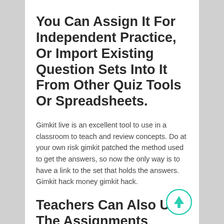You Can Assign It For Independent Practice, Or Import Existing Question Sets Into It From Other Quiz Tools Or Spreadsheets.
Gimkit live is an excellent tool to use in a classroom to teach and review concepts. Do at your own risk gimkit patched the method used to get the answers, so now the only way is to have a link to the set that holds the answers. Gimkit hack money gimkit hack.
Teachers Can Also Use The Assignments Feature To Give Homework.